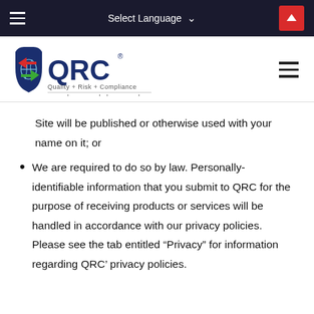Select Language
[Figure (logo): QRC Quality + Risk + Compliance logo with shield icon and tagline 'be assured . be secured']
Site will be published or otherwise used with your name on it; or
We are required to do so by law. Personally-identifiable information that you submit to QRC for the purpose of receiving products or services will be handled in accordance with our privacy policies. Please see the tab entitled “Privacy” for information regarding QRC’ privacy policies.